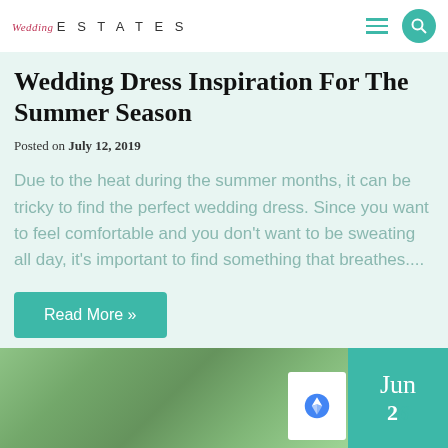Wedding ESTATES
Wedding Dress Inspiration For The Summer Season
Posted on July 12, 2019
Due to the heat during the summer months, it can be tricky to find the perfect wedding dress. Since you want to feel comfortable and you don't want to be sweating all day, it's important to find something that breathes....
Read More »
[Figure (photo): Bottom strip showing outdoor greenery/trees photo with a teal date badge showing Jun in the lower right corner]